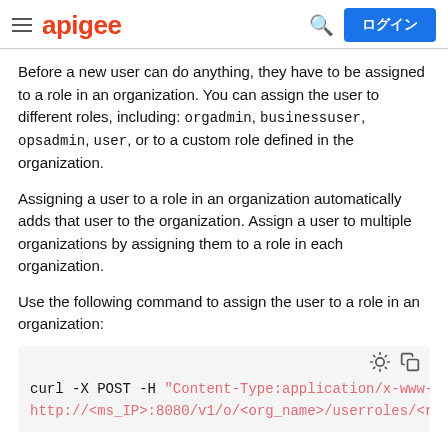apigee | ログイン
Before a new user can do anything, they have to be assigned to a role in an organization. You can assign the user to different roles, including: orgadmin, businessuser, opsadmin, user, or to a custom role defined in the organization.
Assigning a user to a role in an organization automatically adds that user to the organization. Assign a user to multiple organizations by assigning them to a role in each organization.
Use the following command to assign the user to a role in an organization:
[Figure (screenshot): Code block showing curl command: curl -X POST -H "Content-Type:application/x-www-f  http://<ms_IP>:8080/v1/o/<org_name>/userroles/<ro]